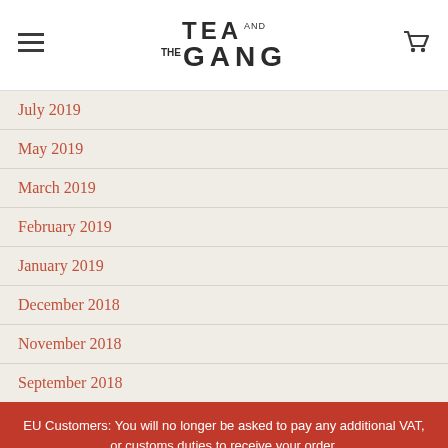TEA AND THE GANG
July 2019
May 2019
March 2019
February 2019
January 2019
December 2018
November 2018
September 2018
EU Customers: You will no longer be asked to pay any additional VAT, or customs duties to receive your order.